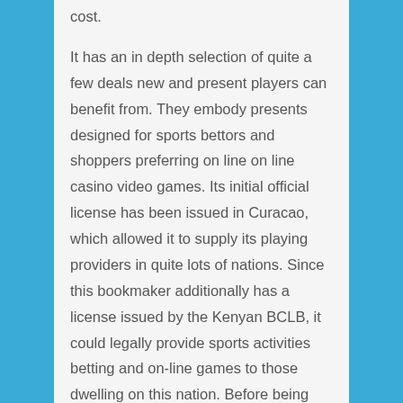cost. It has an in depth selection of quite a few deals new and present players can benefit from. They embody presents designed for sports bettors and shoppers preferring on line on line casino video games. Its initial official license has been issued in Curacao, which allowed it to supply its playing providers in quite lots of nations. Since this bookmaker additionally has a license issued by the Kenyan BCLB, it could legally provide sports activities betting and on-line games to those dwelling on this nation. Before being able to withdraw the corresponding bonus amount, it should be gambled three time on a number of desk bets. Only the blended bets using a minimal of three completely different